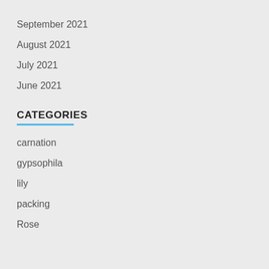September 2021
August 2021
July 2021
June 2021
CATEGORIES
carnation
gypsophila
lily
packing
Rose